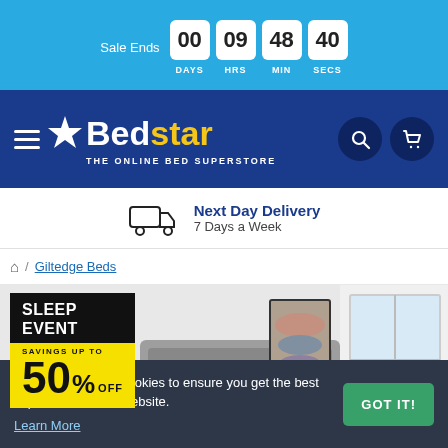Sale Ends 00 DAYS 09 HRS 48 MIN 40 SECS
[Figure (logo): Bedstar – The Online Bed Superstore logo with star icon, white and yellow text on dark blue background, hamburger menu, search and cart icons]
Next Day Delivery 7 Days a Week
Home / Giltedge Beds
[Figure (photo): Bedroom scene showing a grey upholstered bed headboard, an abstract landscape artwork on the wall, and a bright window. Overlay badge reads: SLEEP EVENT SAVINGS UP TO 50% OFF]
This website uses cookies to ensure you get the best experience on our website. Learn More
GOT IT!